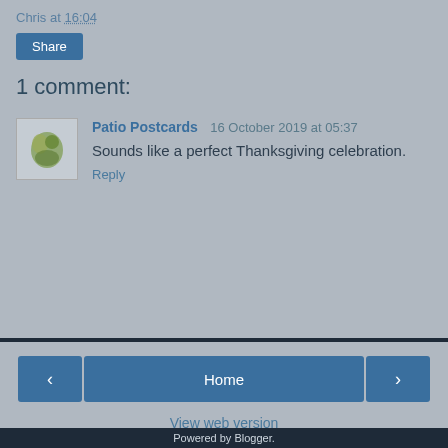Chris at 16:04
Share
1 comment:
Patio Postcards 16 October 2019 at 05:37
Sounds like a perfect Thanksgiving celebration.
Reply
Home | < | >
View web version
Powered by Blogger.